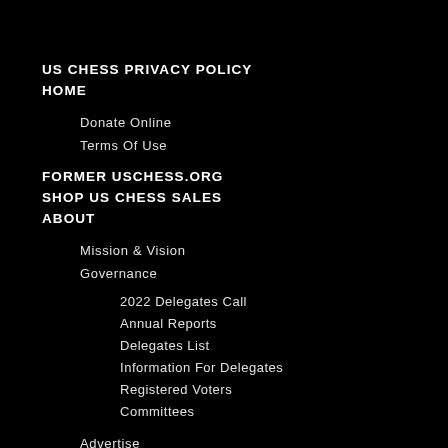US CHESS PRIVACY POLICY
HOME
Donate Online
Terms Of Use
FORMER USCHESS.ORG
SHOP US CHESS SALES
ABOUT
Mission & Vision
Governance
2022 Delegates Call
Annual Reports
Delegates List
Information For Delegates
Registered Voters
Committees
Advertise